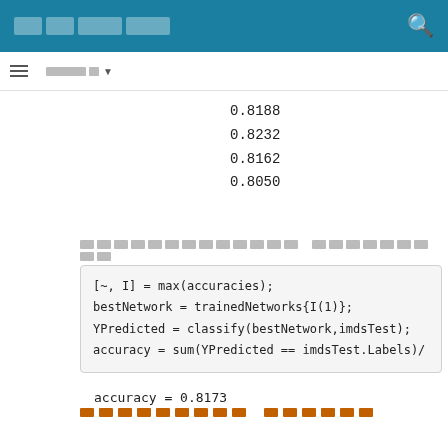[header bar with logo and search]
0.8188
0.8232
0.8162
0.8050
[Thai text: find best network from trained networks]
[~, I] = max(accuracies);
bestNetwork = trainedNetworks{I(1)};
YPredicted = classify(bestNetwork,imdsTest);
accuracy = sum(YPredicted == imdsTest.Labels)/
accuracy = 0.8173
[Thai section header]
[Thai text] animatedLine [Thai text]
f = figure;